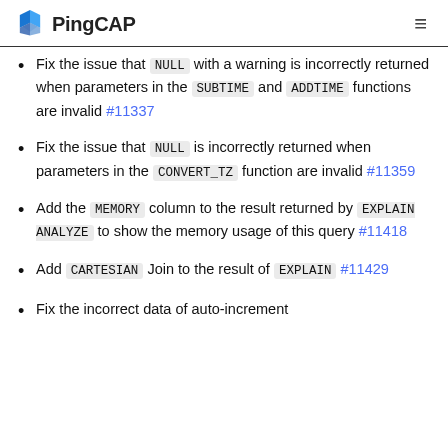PingCAP
Fix the issue that NULL with a warning is incorrectly returned when parameters in the SUBTIME and ADDTIME functions are invalid #11337
Fix the issue that NULL is incorrectly returned when parameters in the CONVERT_TZ function are invalid #11359
Add the MEMORY column to the result returned by EXPLAIN ANALYZE to show the memory usage of this query #11418
Add CARTESIAN Join to the result of EXPLAIN #11429
Fix the incorrect data of auto-increment